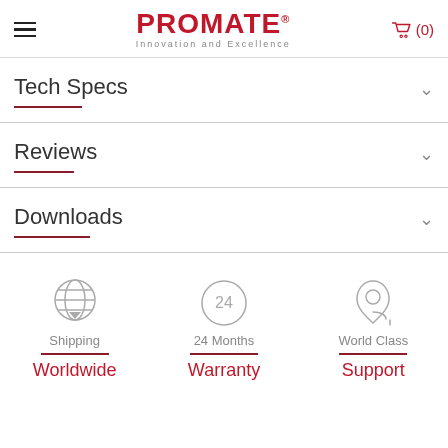PROMATE® Innovation and Excellence (0)
Tech Specs
Reviews
Downloads
Shipping Worldwide
24 Months Warranty
World Class Support